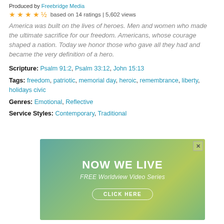Produced by Freebridge Media
★★★★½ based on 14 ratings | 5,602 views
America was built on the lives of heroes. Men and women who made the ultimate sacrifice for our freedom. Americans, whose courage shaped a nation. Today we honor those who gave all they had and became the very definition of a hero.
Scripture: Psalm 91:2, Psalm 33:12, John 15:13
Tags: freedom, patriotic, memorial day, heroic, remembrance, liberty, holidays civic
Genres: Emotional, Reflective
Service Styles: Contemporary, Traditional
[Figure (illustration): Advertisement banner for 'NOW WE LIVE - FREE Worldview Video Series' with a gradient green/teal background and a CLICK HERE button]